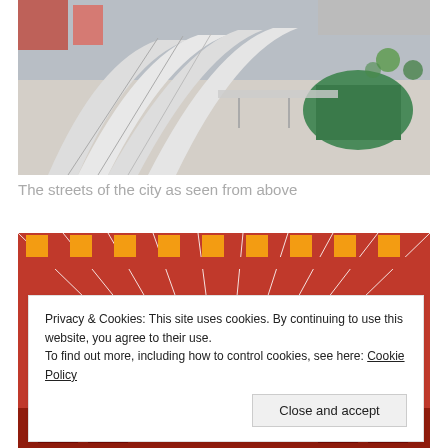[Figure (photo): Aerial view of city streets showing train station roofs with curved white canopies, surrounding buildings, walkways, and a green sports court area.]
The streets of the city as seen from above
[Figure (photo): Close-up view of a red and white striped architectural roof or gate with orange square decorative blocks at the top.]
Privacy & Cookies: This site uses cookies. By continuing to use this website, you agree to their use.
To find out more, including how to control cookies, see here: Cookie Policy
Close and accept